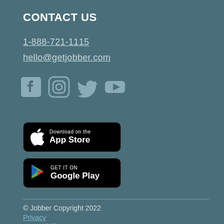CONTACT US
1-888-721-1115
hello@getjobber.com
[Figure (illustration): Social media icons: Facebook, Instagram, Twitter, YouTube in gray/muted teal color]
[Figure (illustration): Download on the App Store button (black, rounded rectangle with Apple logo)]
[Figure (illustration): Get it on Google Play button (black, rounded rectangle with Google Play logo)]
© Jobber Copyright 2022
Privacy
Accessibility
Terms of Service